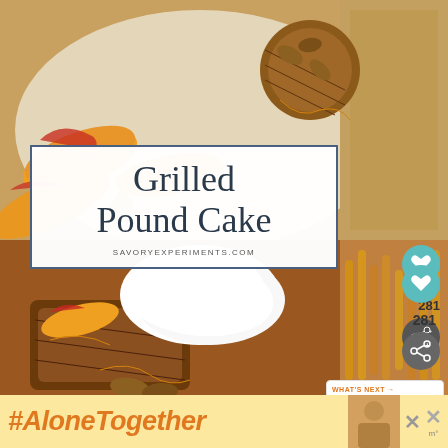[Figure (photo): Top-down food photo showing grilled pound cake slices with peach slices, caramel sauce, and pecans on a white plate]
Grilled
Pound Cake
SAVORYEXPERIMENTS.COM
[Figure (photo): Close-up food photo of grilled pound cake with whipped cream, caramel sauce, peaches and pecans]
[Figure (screenshot): What's Next widget showing Crock Pot Apple... with thumbnail image, heart icon with 281 count, and share button]
[Figure (infographic): Banner advertisement showing #AloneTogether hashtag in orange italic text on yellow background, with person image and X cross logo]